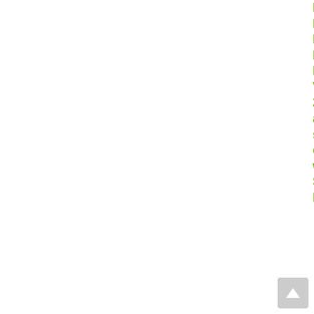De Mas, Eva, Mazzuca, Paola, Mora, Elisa, Opatova, Vera, Planas, Enric, Ribera, Carles, Roca-Cusachs, Marcos, Ruiz, Dolores, Sousa, Pedro, Tonzo, Vanina & Arnedo, Miquel A., 2018, A DNA barcode-assisted annotated checklist of the spider (Arachnida, Araneae) communities associated to white oak woodlands in Spanish National Parks, Biodiversity Data Journal 6, pp.